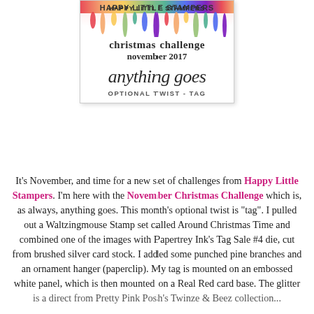[Figure (illustration): Happy Little Stampers Christmas Challenge badge for November 2017. White card with rainbow watercolor drip design at top. Text reads: 'Happy Little Stampers', 'christmas challenge', 'november 2017', 'anything goes', 'optional twist - tag'.]
It's November, and time for a new set of challenges from Happy Little Stampers. I'm here with the November Christmas Challenge which is, as always, anything goes. This month's optional twist is "tag". I pulled out a Waltzingmouse Stamp set called Around Christmas Time and combined one of the images with Papertrey Ink's Tag Sale #4 die, cut from brushed silver card stock. I added some punched pine branches and an ornament hanger (paperclip). My tag is mounted on an embossed white panel, which is then mounted on a Real Red card base. The glitter...